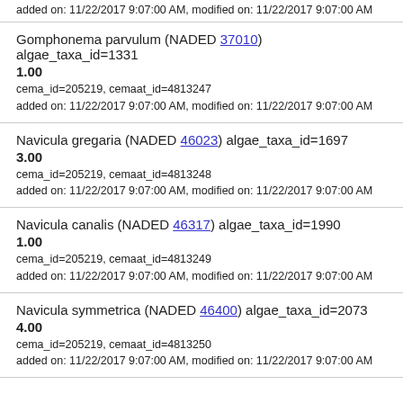added on: 11/22/2017 9:07:00 AM, modified on: 11/22/2017 9:07:00 AM
Gomphonema parvulum (NADED 37010) algae_taxa_id=1331
1.00
cema_id=205219, cemaat_id=4813247
added on: 11/22/2017 9:07:00 AM, modified on: 11/22/2017 9:07:00 AM
Navicula gregaria (NADED 46023) algae_taxa_id=1697
3.00
cema_id=205219, cemaat_id=4813248
added on: 11/22/2017 9:07:00 AM, modified on: 11/22/2017 9:07:00 AM
Navicula canalis (NADED 46317) algae_taxa_id=1990
1.00
cema_id=205219, cemaat_id=4813249
added on: 11/22/2017 9:07:00 AM, modified on: 11/22/2017 9:07:00 AM
Navicula symmetrica (NADED 46400) algae_taxa_id=2073
4.00
cema_id=205219, cemaat_id=4813250
added on: 11/22/2017 9:07:00 AM, modified on: 11/22/2017 9:07:00 AM